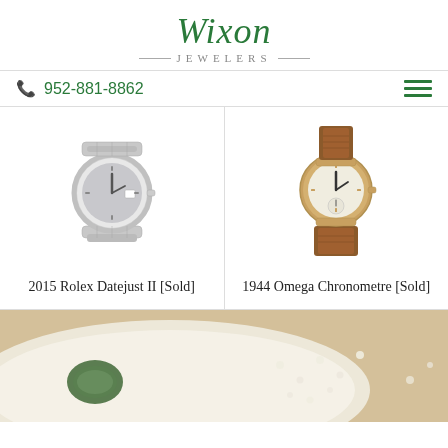[Figure (logo): Wixon Jewelers logo with green italic script and horizontal rules]
952-881-8862
[Figure (photo): 2015 Rolex Datejust II watch with silver bracelet and dial]
2015 Rolex Datejust II [Sold]
[Figure (photo): 1944 Omega Chronometre watch with brown leather strap and cream dial]
1944 Omega Chronometre [Sold]
[Figure (photo): Bottom partial image showing jewelry items in a cream/beige bowl or plate background]